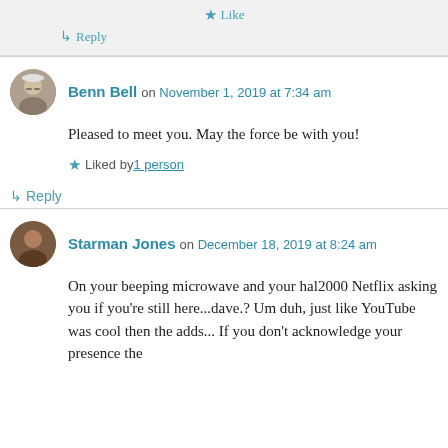Like
↳ Reply
Benn Bell on November 1, 2019 at 7:34 am
Pleased to meet you. May the force be with you!
Liked by 1 person
↳ Reply
Starman Jones on December 18, 2019 at 8:24 am
On your beeping microwave and your hal2000 Netflix asking you if you're still here...dave.? Um duh, just like YouTube was cool then the adds... If you don't acknowledge your presence the